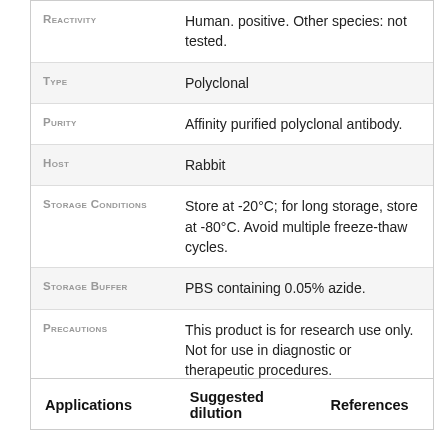| Field | Value |
| --- | --- |
| Reactivity | Human. positive. Other species: not tested. |
| Type | Polyclonal |
| Purity | Affinity purified polyclonal antibody. |
| Host | Rabbit |
| Storage Conditions | Store at -20°C; for long storage, store at -80°C. Avoid multiple freeze-thaw cycles. |
| Storage Buffer | PBS containing 0.05% azide. |
| Precautions | This product is for research use only. Not for use in diagnostic or therapeutic procedures. |
| Applications | Suggested dilution | References |
| --- | --- | --- |